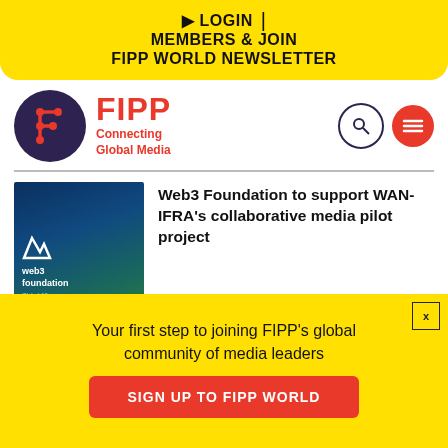▶ LOGIN | MEMBERS & JOIN FIPP WORLD NEWSLETTER
[Figure (logo): FIPP logo — dark purple circle with orange F lettermark, beside red FIPP text and tagline 'Connecting Global Media']
Web3 Foundation to support WAN-IFRA's collaborative media pilot project
Your first step to joining FIPP's global community of media leaders
SIGN UP TO FIPP WORLD